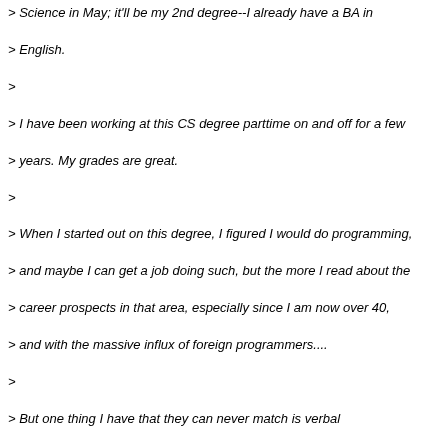> Science in May; it'll be my 2nd degree--I already have a BA in
> English.
>
> I have been working at this CS degree parttime on and off for a few
> years. My grades are great.
>
> When I started out on this degree, I figured I would do programming,
> and maybe I can get a job doing such, but the more I read about the
> career prospects in that area, especially since I am now over 40,
> and with the massive influx of foreign programmers....
>
> But one thing I have that they can never match is verbal
> ability...with the *English* language, anyway!
>
> I currently proofread documents for a law firm, and I was an English
> teacher before that; before that I worked with industrial
> electronic/mechanical controls.
>
> What I would really like to do is go to Silicon Valley for a few
> years and make a ton of money.
>
> Any hints, clues, etc.?
Nothing succeeds like a good attitude. I would expect someone with your background and skills to move to the top of the list for most entry-level jobs. That gets you your foot in the door, and from there it's up to you.
John Posada already gave you some good advice about the money. I can't see much to add to that, but I was struck by your comment about